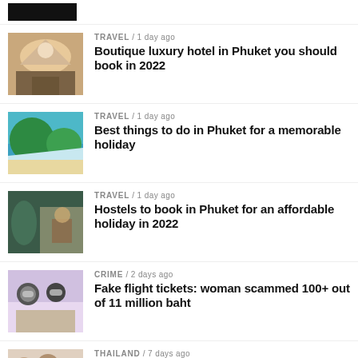[Figure (photo): Black logo/image placeholder at top]
[Figure (photo): Boutique luxury hotel in Phuket - yurt/dome style accommodation with tropical garden]
TRAVEL / 1 day ago
Boutique luxury hotel in Phuket you should book in 2022
[Figure (photo): Aerial view of Phuket coastline with lush green hills and turquoise water]
TRAVEL / 1 day ago
Best things to do in Phuket for a memorable holiday
[Figure (photo): Phuket hostel interior with colorful murals and seating area]
TRAVEL / 1 day ago
Hostels to book in Phuket for an affordable holiday in 2022
[Figure (photo): People with face masks, crime/scam related news]
CRIME / 2 days ago
Fake flight tickets: woman scammed 100+ out of 11 million baht
[Figure (photo): People in Thailand, elephant trampling incident]
THAILAND / 7 days ago
Man trampled to death by wild elephants in Hua Hin, Thailand